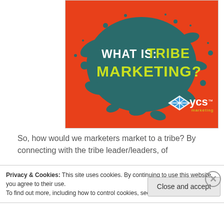[Figure (illustration): Orange background with teal ink splatter graphic. Text reads 'WHAT IS: TRIBE MARKETING?' in white and yellow-green bold fonts. YCS Marketing logo in bottom right.]
So, how would we marketers market to a tribe? By connecting with the tribe leader/leaders, of
Privacy & Cookies: This site uses cookies. By continuing to use this website, you agree to their use.
To find out more, including how to control cookies, see here: Cookie Policy
Close and accept